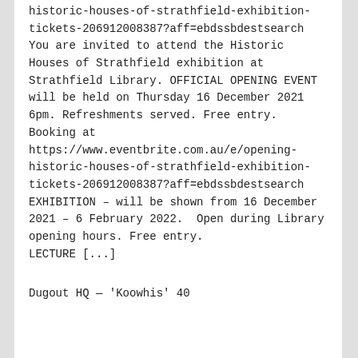historic-houses-of-strathfield-exhibition-tickets-206912008387?aff=ebdssbdestsearch
You are invited to attend the Historic Houses of Strathfield exhibition at Strathfield Library. OFFICIAL OPENING EVENT will be held on Thursday 16 December 2021 6pm. Refreshments served. Free entry. Booking at https://www.eventbrite.com.au/e/opening-historic-houses-of-strathfield-exhibition-tickets-206912008387?aff=ebdssbdestsearch
EXHIBITION – will be shown from 16 December 2021 – 6 February 2022.  Open during Library opening hours. Free entry.
LECTURE [...]
Dugout HQ — 'Koowhis' 40...